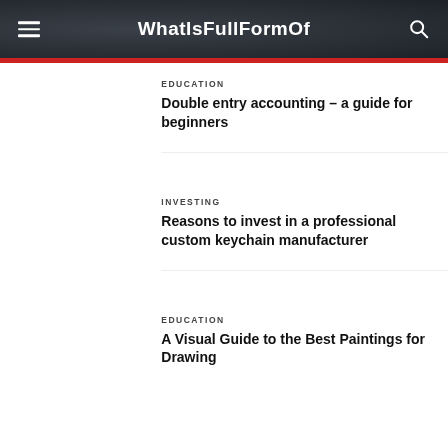WhatIsFullFormOf
EDUCATION
Double entry accounting – a guide for beginners
INVESTING
Reasons to invest in a professional custom keychain manufacturer
EDUCATION
A Visual Guide to the Best Paintings for Drawing